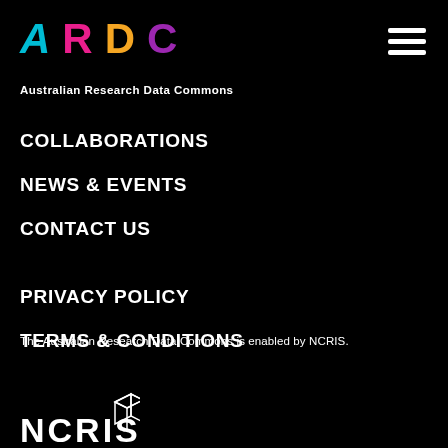[Figure (logo): ARDC logo with colored letters A (cyan), R (pink/magenta), D (orange/yellow), C (purple)]
Australian Research Data Commons
[Figure (other): Hamburger menu icon with three white horizontal bars]
COLLABORATIONS
NEWS & EVENTS
CONTACT US
PRIVACY POLICY
TERMS & CONDITIONS
The Australian Research Data Commons is enabled by NCRIS.
[Figure (logo): NCRIS logo with white text and 3D cube icon]